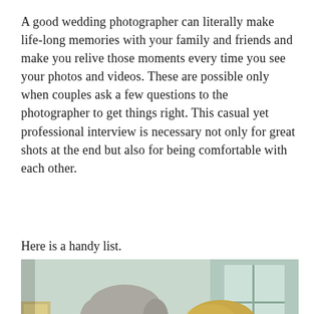A good wedding photographer can literally make life-long memories with your family and friends and make you relive those moments every time you see your photos and videos. These are possible only when couples ask a few questions to the photographer to get things right. This casual yet professional interview is necessary not only for great shots at the end but also for being comfortable with each other.
Here is a handy list.
[Figure (photo): An older couple, a man with grey hair in a suit jacket and a woman with blonde hair, facing each other closely in an intimate moment inside a bright room with windows and greenery visible in the background.]